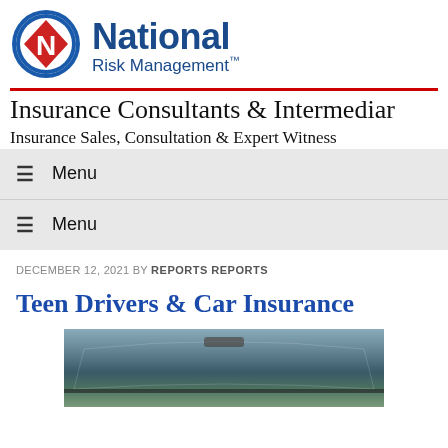[Figure (logo): National Risk Management logo with blue circle, red diamond with N, and blue text reading 'National Risk Management™']
Insurance Consultants & Intermediaries
Insurance Sales, Consultation & Expert Witness
≡  Menu
≡  Menu
DECEMBER 12, 2021 BY REPORTS REPORTS
Teen Drivers & Car Insurance
[Figure (photo): Interior view of a car from driver's perspective, showing dashboard and windshield]